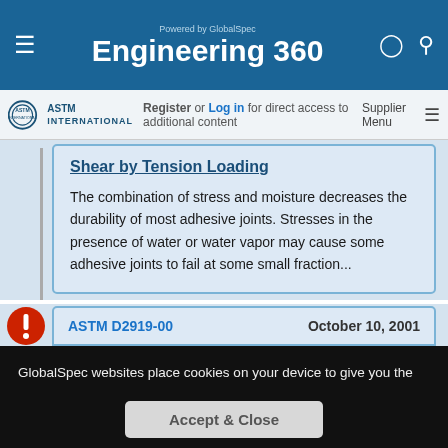Engineering 360 — Powered by GlobalSpec
Register or Log in for direct access to additional content
Shear by Tension Loading
The combination of stress and moisture decreases the durability of most adhesive joints. Stresses in the presence of water or water vapor may cause some adhesive joints to fail at some small fraction...
ASTM D2919-00   October 10, 2001
GlobalSpec websites place cookies on your device to give you the best user experience. By using our websites, you agree to the placement of these cookies. To learn more, read our Privacy Policy
Accept & Close